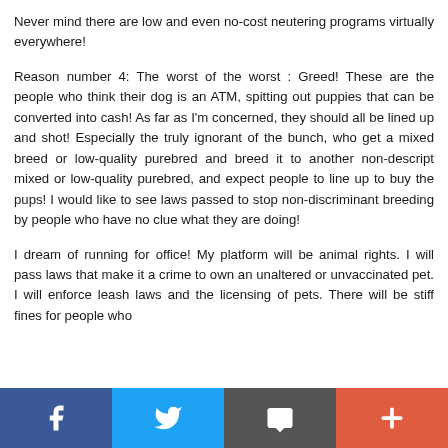Never mind there are low and even no-cost neutering programs virtually everywhere!
Reason number 4: The worst of the worst : Greed! These are the people who think their dog is an ATM, spitting out puppies that can be converted into cash! As far as I'm concerned, they should all be lined up and shot! Especially the truly ignorant of the bunch, who get a mixed breed or low-quality purebred and breed it to another non-descript mixed or low-quality purebred, and expect people to line up to buy the pups! I would like to see laws passed to stop non-discriminant breeding by people who have no clue what they are doing!
I dream of running for office! My platform will be animal rights. I will pass laws that make it a crime to own an unaltered or unvaccinated pet. I will enforce leash laws and the licensing of pets. There will be stiff fines for people who